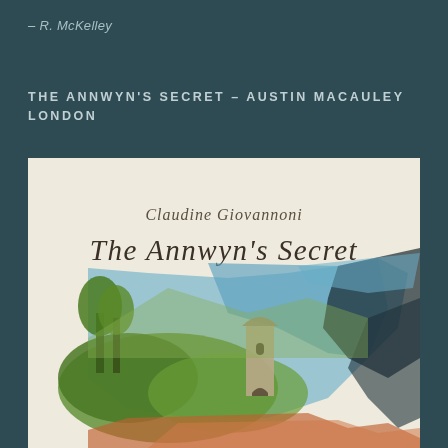– R. McKelley
THE ANNWYN'S SECRET – AUSTIN MACAULEY LONDON
[Figure (illustration): Book cover of 'The Annwyn's Secret' by Claudine Giovannoni, published by Austin Macauley London. The cover features an off-white/cream background with the author's name 'Claudine Giovannoni' in elegant serif script at the top center, and the title 'The Annwyn's Secret' in large decorative Celtic-style lettering below. The lower portion shows an artistic collage/brush-stroke illustration of a medieval or Irish round tower surrounded by trees and green landscape, overlaid with dramatic blue and dark paint strokes creating an artistic effect.]